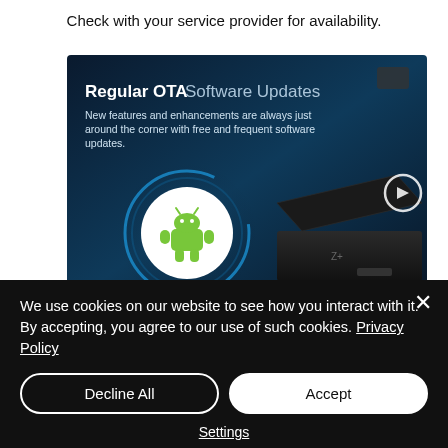Check with your service provider for availability.
[Figure (screenshot): Dark-themed promotional image showing 'Regular OTA Software Updates' heading with description text, Android logo in a glowing circular badge, and a black Android TV box device on a blue-tinted background.]
We use cookies on our website to see how you interact with it. By accepting, you agree to our use of such cookies. Privacy Policy
Decline All
Accept
Settings